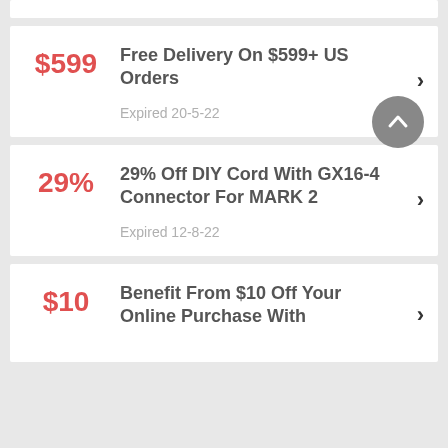$599 — Free Delivery On $599+ US Orders — Expired 20-5-22
29% — 29% Off DIY Cord With GX16-4 Connector For MARK 2 — Expired 12-8-22
$10 — Benefit From $10 Off Your Online Purchase With